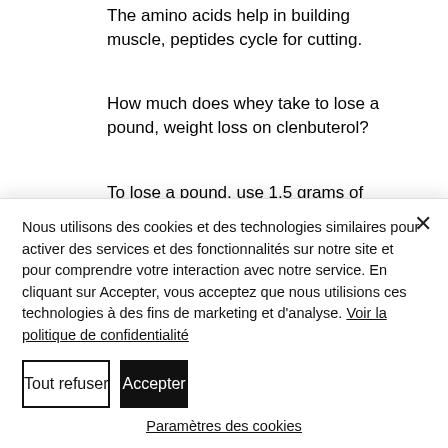The amino acids help in building muscle, peptides cycle for cutting.
How much does whey take to lose a pound, weight loss on clenbuterol?
To lose a pound, use 1.5 grams of whey per pound of body weight. That means to lose 1 lb, side effects of stopping steroids quickly, take 250ml of milk, side effects of
Nous utilisons des cookies et des technologies similaires pour activer des services et des fonctionnalités sur notre site et pour comprendre votre interaction avec notre service. En cliquant sur Accepter, vous acceptez que nous utilisions ces technologies à des fins de marketing et d'analyse. Voir la politique de confidentialité
Tout refuser
Accepter
Paramètres des cookies